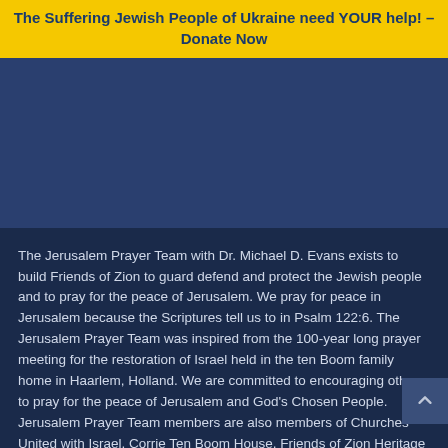The Suffering Jewish People of Ukraine need YOUR help! – Donate Now
[Figure (photo): Dark blue rectangular block, likely a banner image or photo area]
The Jerusalem Prayer Team with Dr. Michael D. Evans exists to build Friends of Zion to guard defend and protect the Jewish people and to pray for the peace of Jerusalem. We pray for peace in Jerusalem because the Scriptures tell us to in Psalm 122:6. The Jerusalem Prayer Team was inspired from the 100-year long prayer meeting for the restoration of Israel held in the ten Boom family home in Haarlem, Holland. We are committed to encouraging others to pray for the peace of Jerusalem and God's Chosen People. Jerusalem Prayer Team members are also members of Churches United with Israel, Corrie Ten Boom House, Friends of Zion Heritage Center and Jerusalem World News. The Jerusalem Prayer Team mailing address is PO BOX 30000 Phoenix, AZ 85046 or you can call us at 1-888-966-8472. The Jerusalem Prayer Team is a dba of the Corrie ten Boom Fellowship. The Corrie ten